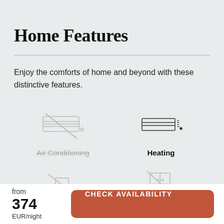Home Features
Enjoy the comforts of home and beyond with these distinctive features.
[Figure (illustration): Icon of air conditioning unit with a diagonal strikethrough line indicating it is not available, labeled 'Air Conditioning' with strikethrough text]
[Figure (illustration): Icon of a heating unit/radiator, labeled 'Heating' in bold]
[Figure (illustration): Icon partially visible at bottom of page, appears to show a work desk or similar item, indicating a feature not available]
[Figure (illustration): Icon partially visible at bottom right, appears to show a door or closet with a strikethrough, indicating a feature not available]
from 374 EUR/night
CHECK AVAILABILITY